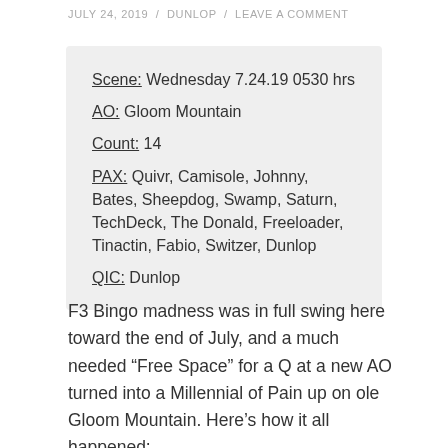JULY 24, 2019 / DUNLOP / LEAVE A COMMENT
Scene: Wednesday 7.24.19 0530 hrs
AO: Gloom Mountain
Count: 14
PAX: Quivr, Camisole, Johnny, Bates, Sheepdog, Swamp, Saturn, TechDeck, The Donald, Freeloader, Tinactin, Fabio, Switzer, Dunlop
QIC: Dunlop
F3 Bingo madness was in full swing here toward the end of July, and a much needed “Free Space” for a Q at a new AO turned into a Millennial of Pain up on ole Gloom Mountain. Here’s how it all happened: